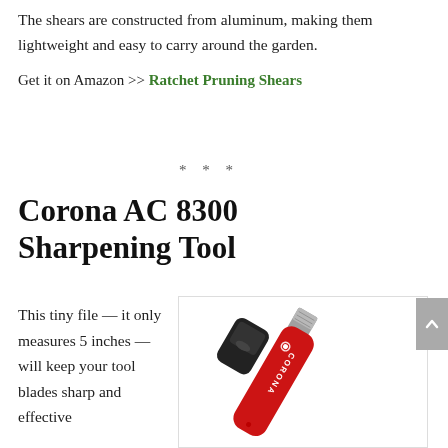The shears are constructed from aluminum, making them lightweight and easy to carry around the garden.
Get it on Amazon >> Ratchet Pruning Shears
* * *
Corona AC 8300 Sharpening Tool
This tiny file — it only measures 5 inches — will keep your tool blades sharp and effective
[Figure (photo): Corona AC 8300 Sharpening Tool product photo showing a red handled sharpening file with black cap, displayed diagonally]